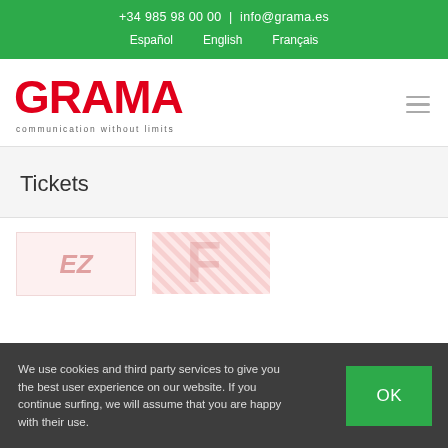+34 985 98 00 00 | info@grama.es
Español  English  Français
[Figure (logo): GRAMA logo in red block letters with tagline 'communication without limits']
Tickets
[Figure (photo): Two ticket thumbnail images partially visible]
We use cookies and third party services to give you the best user experience on our website. If you continue surfing, we will assume that you are happy with their use.